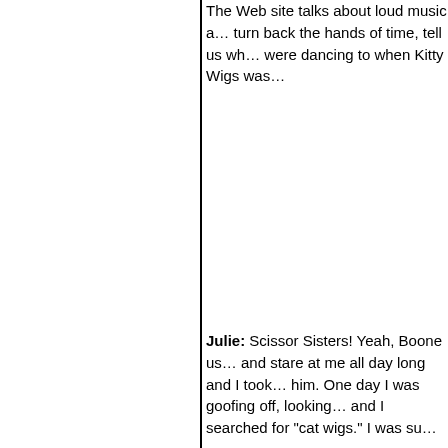The Web site talks about loud music a... turn back the hands of time, tell us wh... were dancing to when Kitty Wigs was...
Julie: Scissor Sisters! Yeah, Boone us... and stare at me all day long and I took... him. One day I was goofing off, looking... and I searched for "cat wigs." I was su...